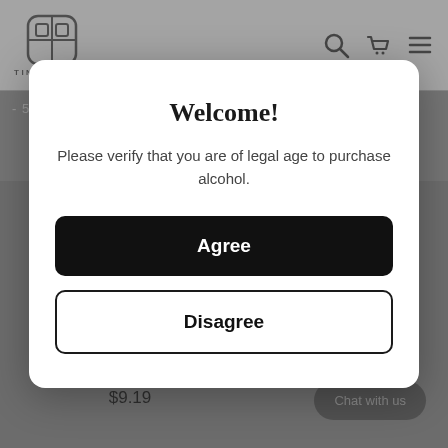[Figure (screenshot): Tiny Tipple e-commerce website screenshot showing navigation bar with logo, search, cart, and hamburger menu icons, plus partial product listings in the background]
Welcome!
Please verify that you are of legal age to purchase alcohol.
Agree
Disagree
Glendalough - Mountain Strength - Poitin - 55% Abv - 50ml
GLENDALOUGH
$9.19
Chat with us